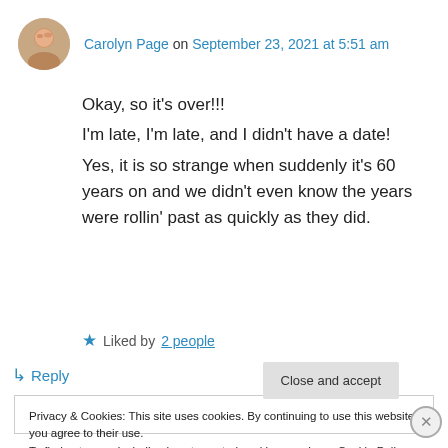Carolyn Page on September 23, 2021 at 5:51 am
Okay, so it's over!!!
I'm late, I'm late, and I didn't have a date!
Yes, it is so strange when suddenly it's 60 years on and we didn't even know the years were rollin' past as quickly as they did.
★ Liked by 2 people
↵ Reply
Privacy & Cookies: This site uses cookies. By continuing to use this website, you agree to their use.
To find out more, including how to control cookies, see here: Cookie Policy
Close and accept